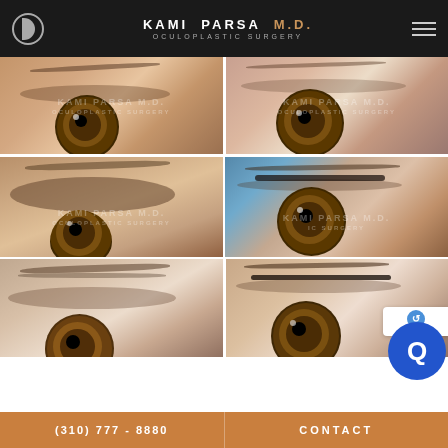KAMI PARSA M.D. OCULOPLASTIC SURGERY
[Figure (photo): Before photo of patient eye showing drooping upper eyelid (ptosis), close-up of right eye with brown iris, warm skin tones]
[Figure (photo): After photo of same patient eye post-oculoplastic surgery, improved eyelid position, brown iris visible]
[Figure (photo): Before photo of second patient showing heavy drooping upper eyelid obscuring part of iris, brown eye]
[Figure (photo): After photo of second patient post-surgery, blue background, improved eyelid lift, brown eye with lashes]
[Figure (photo): Before photo of third patient showing brow and upper eyelid area, subtle ptosis]
[Figure (photo): After photo of third patient showing improved eyelid contour with lashes visible]
(310) 777 - 8880    CONTACT